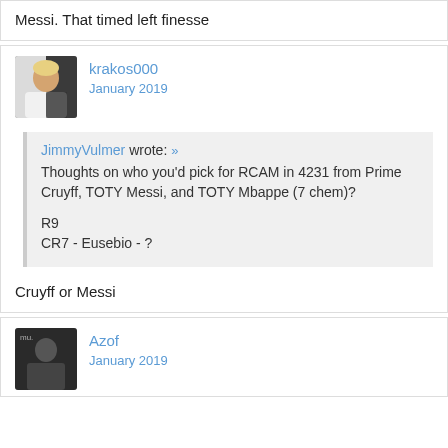Messi. That timed left finesse
krakos000
January 2019
JimmyVulmer wrote: » Thoughts on who you'd pick for RCAM in 4231 from Prime Cruyff, TOTY Messi, and TOTY Mbappe (7 chem)?

R9
CR7 - Eusebio - ?
Cruyff or Messi
Azof
January 2019